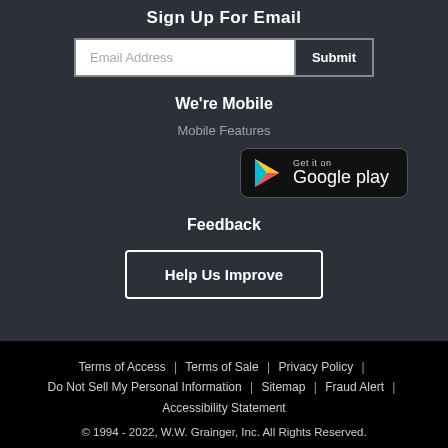Sign Up For Email
Email Address
Submit
We're Mobile
Mobile Features
[Figure (logo): Get it on Google Play button with Google Play triangle logo]
Feedback
Help Us Improve
Terms of Access | Terms of Sale | Privacy Policy | Do Not Sell My Personal Information | Sitemap | Fraud Alert | Accessibility Statement
© 1994 - 2022, W.W. Grainger, Inc. All Rights Reserved.